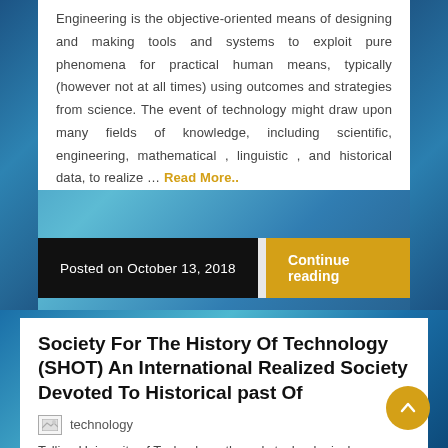Engineering is the objective-oriented means of designing and making tools and systems to exploit pure phenomena for practical human means, typically (however not at all times) using outcomes and strategies from science. The event of technology might draw upon many fields of knowledge, including scientific, engineering, mathematical , linguistic , and historical data, to realize … Read More..
Posted on October 13, 2018
Continue reading
Society For The History Of Technology (SHOT) An International Realized Society Devoted To Historical past Of
[Figure (photo): Small broken image placeholder labeled 'technology']
Tallinn University of Technology, the only technological